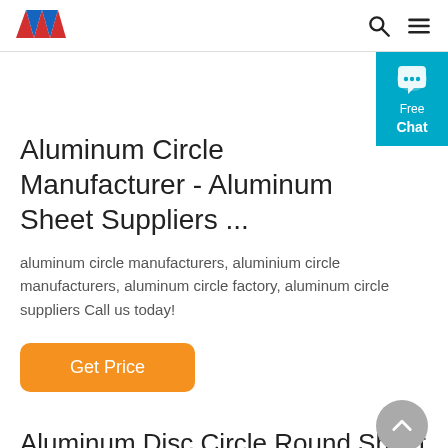AW logo with search and menu icons
Aluminum Circle Manufacturer - Aluminum Sheet Suppliers ...
aluminum circle manufacturers, aluminium circle manufacturers, aluminum circle factory, aluminum circle suppliers Call us today!
Get Price
Aluminum Disc Circle Round Sheet H12 H14